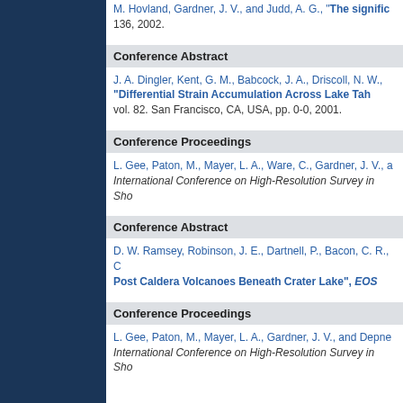M. Hovland, Gardner, J. V., and Judd, A. G., "The signific... 136, 2002.
Conference Abstract
J. A. Dingler, Kent, G. M., Babcock, J. A., Driscoll, N. W., ... "Differential Strain Accumulation Across Lake Tah... vol. 82. San Francisco, CA, USA, pp. 0-0, 2001.
Conference Proceedings
L. Gee, Paton, M., Mayer, L. A., Ware, C., Gardner, J. V., a... International Conference on High-Resolution Survey in Sho...
Conference Abstract
D. W. Ramsey, Robinson, J. E., Dartnell, P., Bacon, C. R., C... Post Caldera Volcanoes Beneath Crater Lake", EOS...
Conference Proceedings
L. Gee, Paton, M., Mayer, L. A., Gardner, J. V., and Depne... International Conference on High-Resolution Survey in Sho...